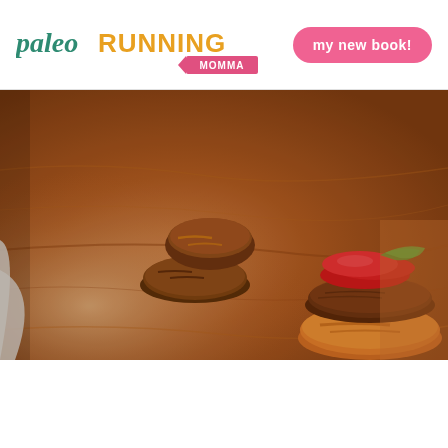paleo RUNNING MOMMA | my new book!
[Figure (photo): Close-up photo of portobello mushroom burger sliders on a wooden cutting board. Two burgers visible: one in background showing mushroom buns, one in foreground showing a meat patty on a sweet potato round bun topped with tomatoes and greens.]